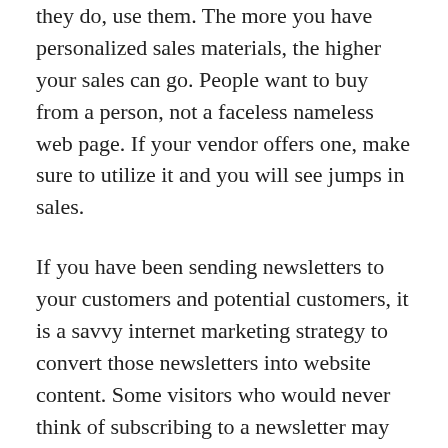they do, use them. The more you have personalized sales materials, the higher your sales can go. People want to buy from a person, not a faceless nameless web page. If your vendor offers one, make sure to utilize it and you will see jumps in sales.
If you have been sending newsletters to your customers and potential customers, it is a savvy internet marketing strategy to convert those newsletters into website content. Some visitors who would never think of subscribing to a newsletter may nevertheless eagerly devour the same material on your site. And since you are reusing pre-existing content, the effort involved is minimal!
As was discussed at the beginning of this article,